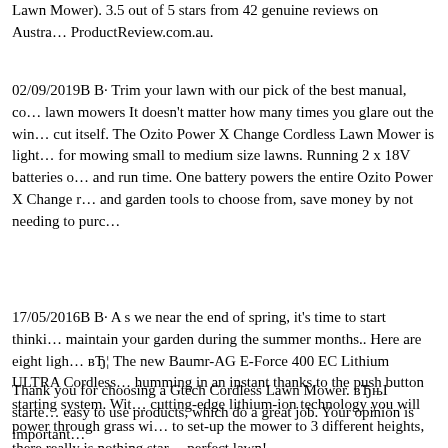Lawn Mower). 3.5 out of 5 stars from 42 genuine reviews on Austra... ProductReview.com.au.
02/09/2019B B· Trim your lawn with our pick of the best manual, co... lawn mowers It doesn't matter how many times you glare out the win... cut itself. The Ozito Power X Change Cordless Lawn Mower is light... for mowing small to medium size lawns. Running 2 x 18V batteries o... and run time. One battery powers the entire Ozito Power X Change r... and garden tools to choose from, save money by not needing to purc...
17/05/2016B B· A s we near the end of spring, it's time to start thinki... maintain your garden during the summer months.. Here are eight ligh... вЂ¦ The new Baumr-AG E-Force 400 EC Lithium ULTRA Cordless... humming in an instant thanks to the push button starting system. Wit... cutting-edge lithium-ion technology you will power through grass wi... to set-up the mower to 3 different heights, there really is nothing star... perfect lawn!
Thank you for choosing a Gtech Cordless Lawn Mower. вЂњI starte... easy to use products, which do a great job. Your opinion is important...